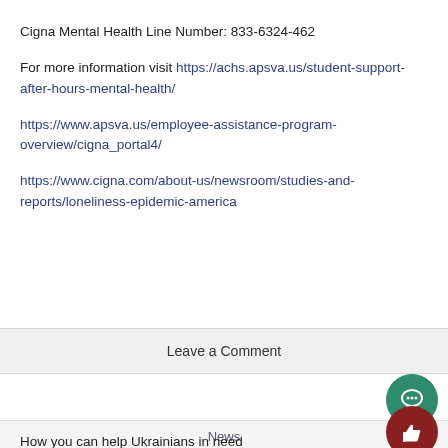Cigna Mental Health Line Number: 833-6324-462
For more information visit https://achs.apsva.us/student-support-after-hours-mental-health/
https://www.apsva.us/employee-assistance-program-overview/cigna_portal4/
https://www.cigna.com/about-us/newsroom/studies-and-reports/loneliness-epidemic-america
Leave a Comment
News
How you can help Ukrainians in need